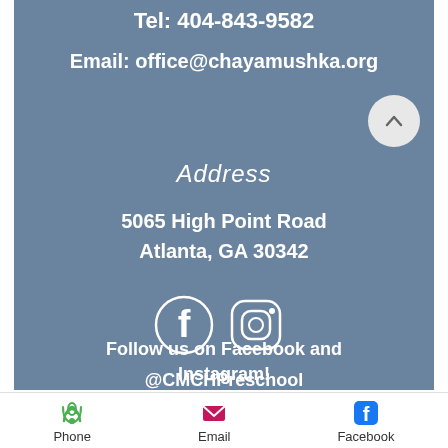Tel: 404-843-9582
Email: office@chayamushka.org
Address
5065 High Point Road
Atlanta, GA 30342
[Figure (illustration): Facebook and Instagram social media icons in white]
Follow us on Facebook and Instagram!
@CMCHPreschool
Phone   Email   Facebook